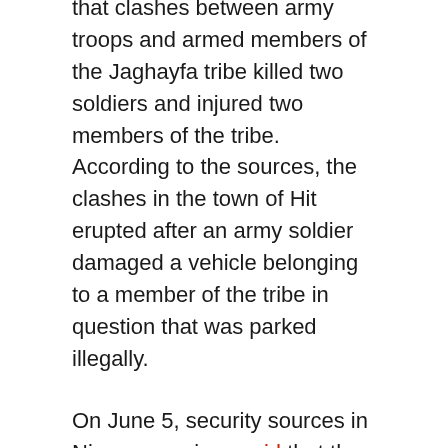On June 4, security sources in Anbar province said that clashes between army troops and armed members of the Jaghayfa tribe killed two soldiers and injured two members of the tribe. According to the sources, the clashes in the town of Hit erupted after an army soldier damaged a vehicle belonging to a member of the tribe in question that was parked illegally.
On June 5, security sources in Ninewa province said that the explosion of a remnant of war seriously injured a ten year old child who was herding animals near the Shoura subdistrict, south of Mosul.
On June 5, security sources in Salah ad-Din province said that an IED explosion targeted a convoy transporting supplies for the International